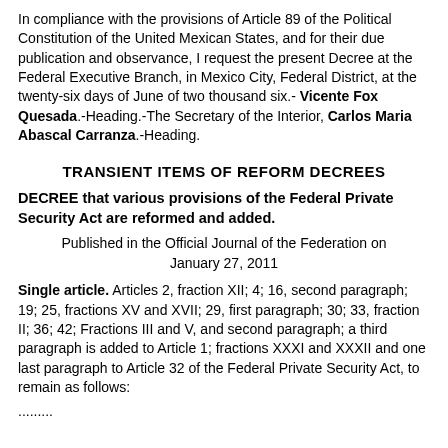In compliance with the provisions of Article 89 of the Political Constitution of the United Mexican States, and for their due publication and observance, I request the present Decree at the Federal Executive Branch, in Mexico City, Federal District, at the twenty-six days of June of two thousand six.- Vicente Fox Quesada.-Heading.-The Secretary of the Interior, Carlos Maria Abascal Carranza.-Heading.
TRANSIENT ITEMS OF REFORM DECREES
DECREE that various provisions of the Federal Private Security Act are reformed and added.
Published in the Official Journal of the Federation on January 27, 2011
Single article. Articles 2, fraction XII; 4; 16, second paragraph; 19; 25, fractions XV and XVII; 29, first paragraph; 30; 33, fraction II; 36; 42; Fractions III and V, and second paragraph; a third paragraph is added to Article 1; fractions XXXI and XXXII and one last paragraph to Article 32 of the Federal Private Security Act, to remain as follows:
.........